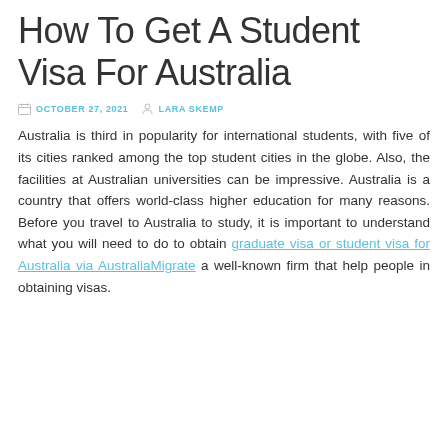How To Get A Student Visa For Australia
OCTOBER 27, 2021  LARA SKEMP
Australia is third in popularity for international students, with five of its cities ranked among the top student cities in the globe. Also, the facilities at Australian universities can be impressive. Australia is a country that offers world-class higher education for many reasons. Before you travel to Australia to study, it is important to understand what you will need to do to obtain graduate visa or student visa for Australia via AustraliaMigrate a well-known firm that help people in obtaining visas.